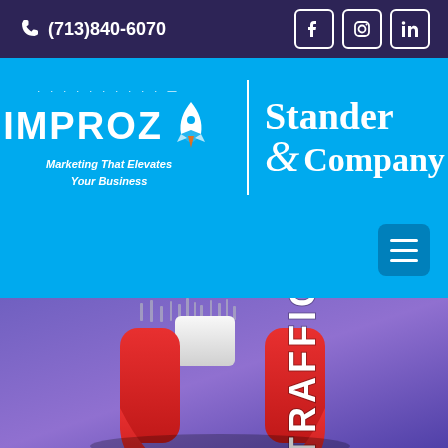(713)840-6070
[Figure (logo): IMPROZ rocket logo with tagline 'Marketing That Elevates Your Business' and Stander & Company logo, on bright blue background]
[Figure (photo): 3D red horseshoe magnet attracting metal objects, with word TRAFFIC written on the magnet arm, purple/blue background]